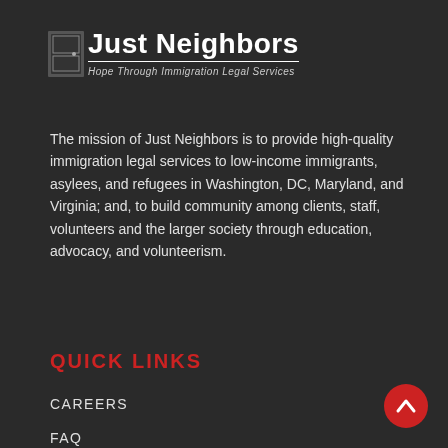[Figure (logo): Just Neighbors logo with door icon, bold text 'Just Neighbors', and tagline 'Hope Through Immigration Legal Services']
The mission of Just Neighbors is to provide high-quality immigration legal services to low-income immigrants, asylees, and refugees in Washington, DC, Maryland, and Virginia; and, to build community among clients, staff, volunteers and the larger society through education, advocacy, and volunteerism.
QUICK LINKS
CAREERS
FAQ